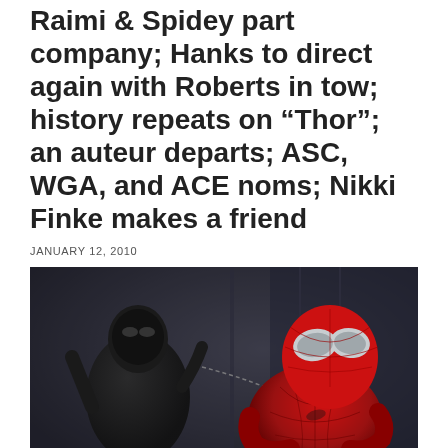Raimi & Spidey part company; Hanks to direct again with Roberts in tow; history repeats on "Thor"; an auteur departs; ASC, WGA, and ACE noms; Nikki Finke makes a friend
JANUARY 12, 2010
[Figure (photo): Photo of two Spider-Man action figures or costumed characters — a red-suited Spider-Man in foreground and a dark/black-suited figure in background, connected by a chain or web, staged in a dramatic dark setting.]
My highly esteemed colleague Will Harris has been right on top of the huge small screen stories that seem to be breaking right and left at the TCA conference this week. Still, it's not like there hasn't been any news in